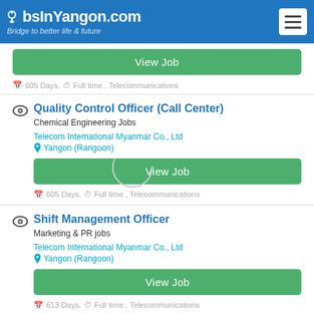JobsInYangon.com — Bridge to better life & future
View Job
605 Days, Full time , Telecommunications
Quality Control Officer (Call Center)
Chemical Engineering Jobs
Telecom International Myanmar Co., Ltd
Yangon (Rangoon)
View Job
605 Days, Full time , Telecommunications
Shift Management Officer
Marketing & PR jobs
Telecom International Myanmar Co., Ltd
Yangon (Rangoon)
View Job
613 Days, Full time , Telecommunications